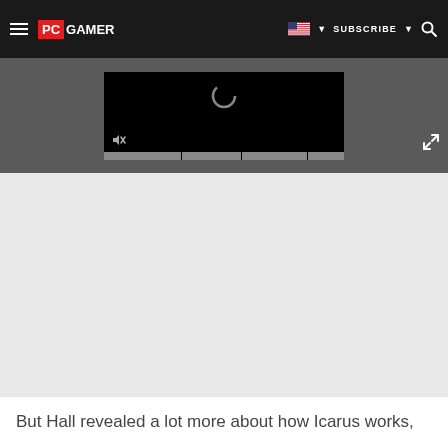PC GAMER | SUBSCRIBE
[Figure (screenshot): Video player embedded in page showing a black screen with a loading spinner circle icon and a mute/unmute speaker icon in the bottom-left. Below the video are progress bar segments. A fullscreen expand icon appears in the bottom-right corner. The video player sits on a dark gray background.]
But Hall revealed a lot more about how Icarus works,